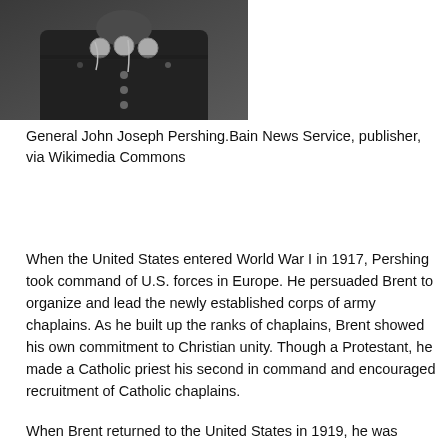[Figure (photo): Black and white photograph showing General John Joseph Pershing in military uniform with medals, cropped to show chest and uniform details.]
General John Joseph Pershing.Bain News Service, publisher, via Wikimedia Commons
When the United States entered World War I in 1917, Pershing took command of U.S. forces in Europe. He persuaded Brent to organize and lead the newly established corps of army chaplains. As he built up the ranks of chaplains, Brent showed his own commitment to Christian unity. Though a Protestant, he made a Catholic priest his second in command and encouraged recruitment of Catholic chaplains.
When Brent returned to the United States in 1919, he was